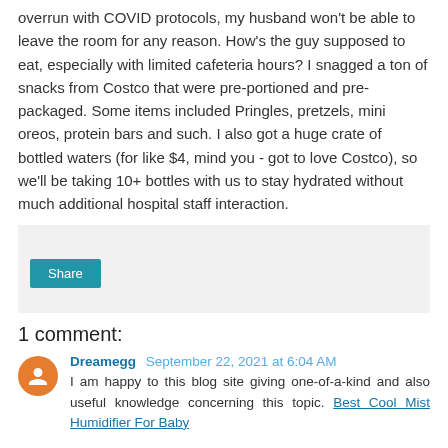overrun with COVID protocols, my husband won't be able to leave the room for any reason. How's the guy supposed to eat, especially with limited cafeteria hours? I snagged a ton of snacks from Costco that were pre-portioned and pre-packaged. Some items included Pringles, pretzels, mini oreos, protein bars and such. I also got a huge crate of bottled waters (for like $4, mind you - got to love Costco), so we'll be taking 10+ bottles with us to stay hydrated without much additional hospital staff interaction.
[Figure (other): Gray share box with a blue Share button]
1 comment:
Dreamegg  September 22, 2021 at 6:04 AM
I am happy to this blog site giving one-of-a-kind and also useful knowledge concerning this topic. Best Cool Mist Humidifier For Baby